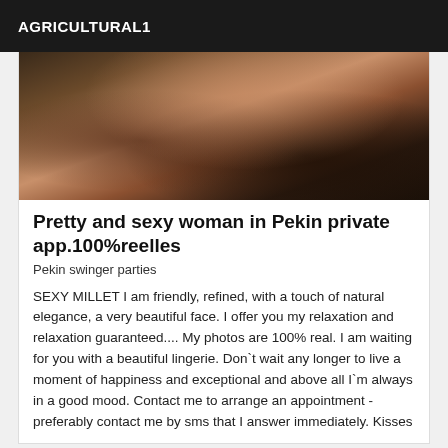AGRICULTURAL1
[Figure (photo): Close-up photo of a woman wearing black lace lingerie]
Pretty and sexy woman in Pekin private app.100%reelles
Pekin swinger parties
SEXY MILLET I am friendly, refined, with a touch of natural elegance, a very beautiful face. I offer you my relaxation and relaxation guaranteed.... My photos are 100% real. I am waiting for you with a beautiful lingerie. Don`t wait any longer to live a moment of happiness and exceptional and above all I`m always in a good mood. Contact me to arrange an appointment - preferably contact me by sms that I answer immediately. Kisses